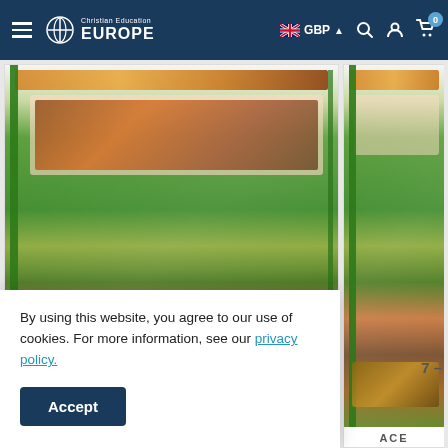Christian Education EUROPE | GBP | Search | Account | Cart (0)
[Figure (photo): Two product book covers side by side showing ACE educational materials with colorful illustrated covers featuring farm/nature scenes]
ACE
ACE
By using this website, you agree to our use of cookies. For more information, see our privacy policy.
Accept